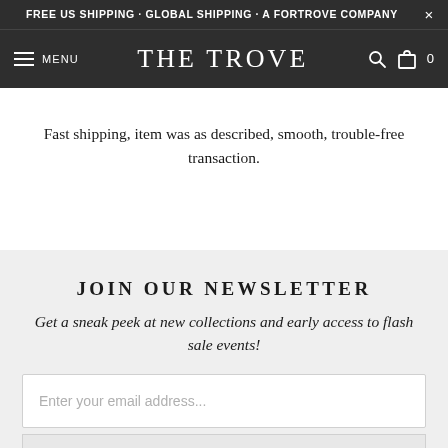FREE US SHIPPING · GLOBAL SHIPPING · A FORTROVE COMPANY
[Figure (screenshot): The Trove website navigation bar with hamburger menu, MENU label, THE TROVE logo, search icon, and bag icon with count 0]
Fast shipping, item was as described, smooth, trouble-free transaction.
JOIN OUR NEWSLETTER
Get a sneak peek at new collections and early access to flash sale events!
Enter your email address...
SIGN UP